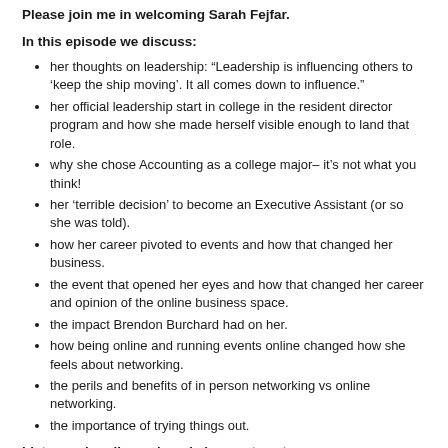Please join me in welcoming Sarah Fejfar.
In this episode we discuss:
her thoughts on leadership: “Leadership is influencing others to ‘keep the ship moving’. It all comes down to influence.”
her official leadership start in college in the resident director program and how she made herself visible enough to land that role.
why she chose Accounting as a college major– it’s not what you think!
her ‘terrible decision’ to become an Executive Assistant (or so she was told).
how her career pivoted to events and how that changed her business.
the event that opened her eyes and how that changed her career and opinion of the online business space.
the impact Brendon Burchard had on her.
how being online and running events online changed how she feels about networking.
the perils and benefits of in person networking vs online networking.
the importance of trying things out.
Listen, subscribe and read show notes at www.OnTheSchmooze.com.
[Figure (other): Podcast player widget showing On The Schmooze podcast, episode OTS 297: Plate Spinning - Sarah F... with thumbnail image of a person, a green play button, show name and episode title.]